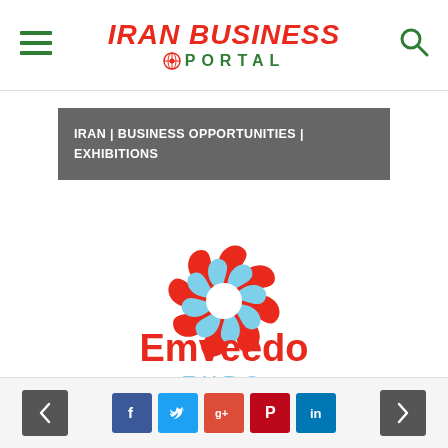IRAN BUSINESS PORTAL
IRAN | BUSINESS OPPORTUNITIES | EXHIBITIONS
[Figure (logo): Emveedo Expo logo: a circular pinwheel design in red and cyan/light blue above the text 'Emveedo' in red and 'EXPO' in cyan]
Navigation arrows and social share icons: Facebook, Twitter, Google+, Pinterest, LinkedIn